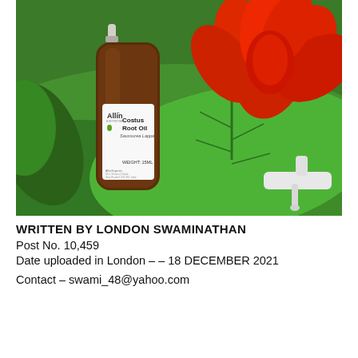[Figure (photo): Product photo of a dark amber bottle labeled 'Allin Exporter Costus Root Oil Saussurea Lappa WEIGHT: 15ML', displayed against a tropical background with large green leaves and a vibrant red flower (tropical ginger). A white pump dispenser is visible on the right side.]
WRITTEN BY LONDON SWAMINATHAN
Post No. 10,459
Date uploaded in London – – 18 DECEMBER 2021
Contact – swami_48@yahoo.com